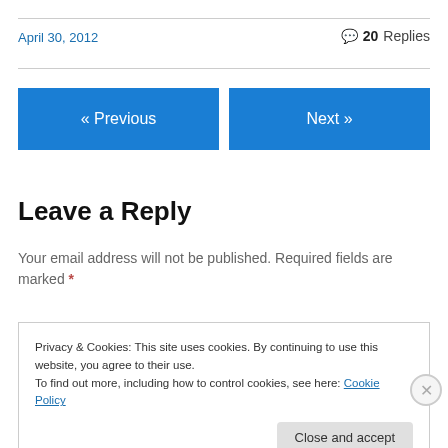April 30, 2012
💬 20 Replies
« Previous
Next »
Leave a Reply
Your email address will not be published. Required fields are marked *
Privacy & Cookies: This site uses cookies. By continuing to use this website, you agree to their use.
To find out more, including how to control cookies, see here: Cookie Policy
Close and accept